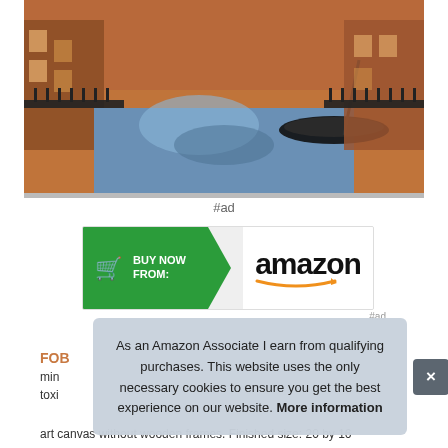[Figure (illustration): Illustrated/stylized image of a Venice canal scene with gondolas, reflections in water, buildings on either side rendered in a digital art/paint-by-number style with warm orange and cool blue tones.]
#ad
[Figure (infographic): Amazon affiliate buy button banner with green arrow-shaped left panel showing a shopping cart icon and 'BUY NOW FROM:' text, and white right panel showing the Amazon wordmark with orange smile logo.]
#ad
FOB
min
toxi
art canvas without wooden frames. Finished size: 20 by 16
As an Amazon Associate I earn from qualifying purchases. This website uses the only necessary cookies to ensure you get the best experience on our website. More information